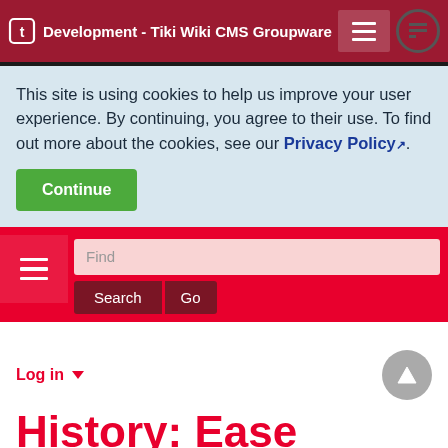Development - Tiki Wiki CMS Groupware
This site is using cookies to help us improve your user experience. By continuing, you agree to their use. To find out more about the cookies, see our Privacy Policy.
Continue
Find
Search  Go
Log in
History: Ease